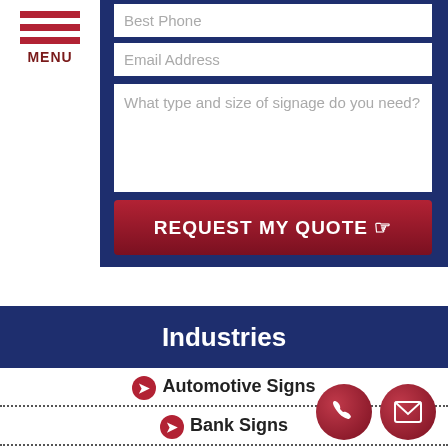[Figure (screenshot): Mobile navigation menu with three red horizontal lines and MENU label]
Best Phone
Email Address
What type and size of signage do you need?
REQUEST MY QUOTE
Industries
Automotive Signs
Bank Signs
Bar Signs
Barber Signs